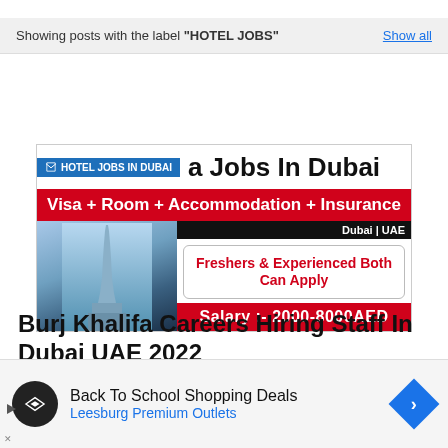Showing posts with the label "HOTEL JOBS"    Show all
[Figure (screenshot): Burj Khalifa hotel jobs in Dubai promotional image card with red banners showing Visa+Room+Accommodation+Insurance, Freshers & Experienced Both Can Apply, Salary:- 2000-8000AED, with an image of the Burj Khalifa building]
Burj Khalifa Careers Hiring Staff In Dubai UAE 2022
In Dubai · August 30, 2022
[Figure (infographic): Advertisement: Back To School Shopping Deals – Leesburg Premium Outlets]